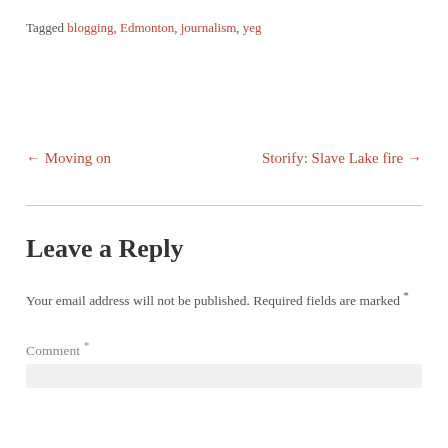Tagged blogging, Edmonton, journalism, yeg
← Moving on
Storify: Slave Lake fire →
Leave a Reply
Your email address will not be published. Required fields are marked *
Comment *